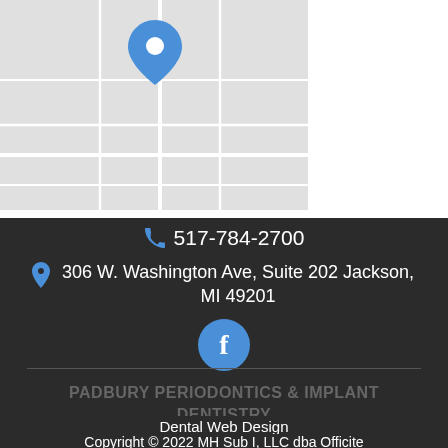[Figure (map): Partial map view with a blue location pin marker. Left portion shows a light gray map, right portion is white.]
517-784-2700
306 W. Washington Ave, Suite 202 Jackson, MI 49201
[Figure (logo): Facebook icon - blue circle with white letter f]
PADBURY PERIODONTICS & IMPLANT DENTISTRY
Dental Web Design
Copyright © 2022 MH Sub I, LLC dba Officite